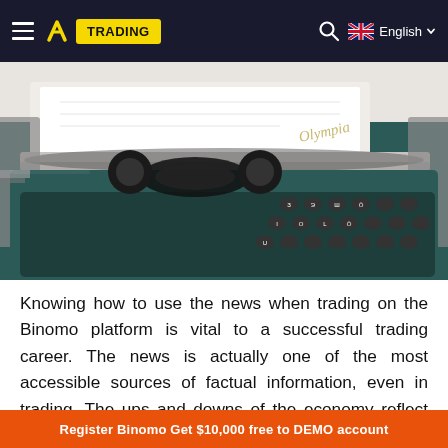TRADING | English
[Figure (photo): Close-up photograph of a teal/dark green Olympia typewriter with white paper loaded, showing keys with Cyrillic-like characters and the cursive 'Olympia' brand name on the body]
Knowing how to use the news when trading on the Binomo platform is vital to a successful trading career. The news is actually one of the most accessible sources of factual information, even in trading. The ups and downs of the economy reflect the market's position relative to
Register Binomo Get $10,000 free to DEMO account